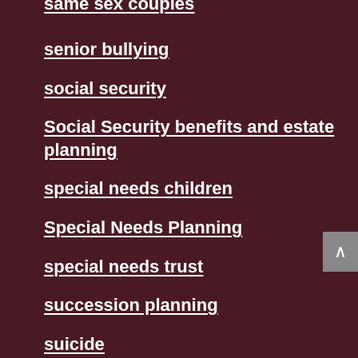same sex couples
senior bullying
social security
Social Security benefits and estate planning
special needs children
Special Needs Planning
special needs trust
succession planning
suicide
suicide clasue
Tax Planning